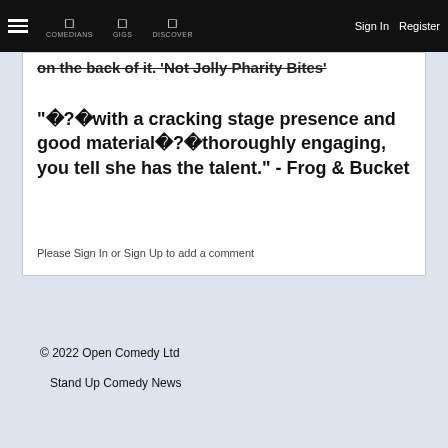☰  COMEDIANS  GIGS  DISCOVER  Sign In  Register
on the back of it. 'Not Jolly Charity Bites'
"\uFFFD?\uFFFDwith a cracking stage presence and good material\uFFFD?\uFFFDthoroughly engaging, you tell she has the talent." - Frog & Bucket
Please Sign In or Sign Up to add a comment
© 2022 Open Comedy Ltd
Stand Up Comedy News